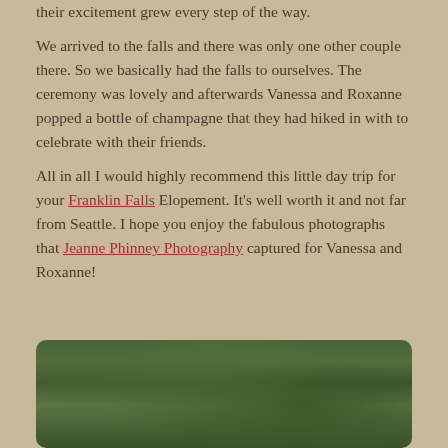their excitement grew every step of the way.

We arrived to the falls and there was only one other couple there.  So we basically had the falls to ourselves.  The ceremony was lovely and afterwards Vanessa and Roxanne popped a bottle of champagne that they had hiked in with to celebrate with their friends.

All in all I would highly recommend this little day trip for your Franklin Falls Elopement.  It's well worth it and not far from Seattle.  I hope you enjoy the fabulous photographs that Jeanne Phinney Photography captured for Vanessa and Roxanne!
[Figure (photo): Outdoor nature photograph showing lush green forest foliage and trees, partially visible at the bottom of the page inside a rounded white-bordered container.]